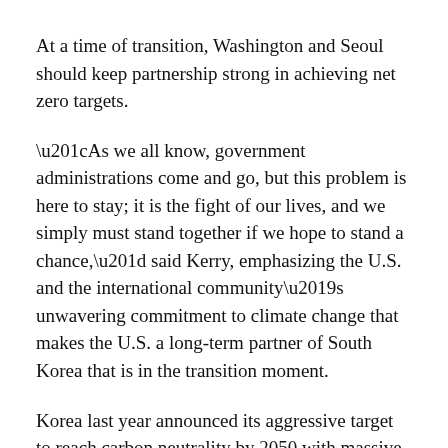At a time of transition, Washington and Seoul should keep partnership strong in achieving net zero targets.
“As we all know, government administrations come and go, but this problem is here to stay; it is the fight of our lives, and we simply must stand together if we hope to stand a chance,” said Kerry, emphasizing the U.S. and the international community’s unwavering commitment to climate change that makes the U.S. a long-term partner of South Korea that is in the transition moment.
Korea last year announced its aggressive target to reach carbon neutrality by 2050 with massive investments in green technologies and industries. It later announced a follow-up goal to reduce emissions by 40 percent below 2018 levels by 2030.
“We in the U.S. are ready to roll up our sleeves and help each other along the difficult path of implementing our respective